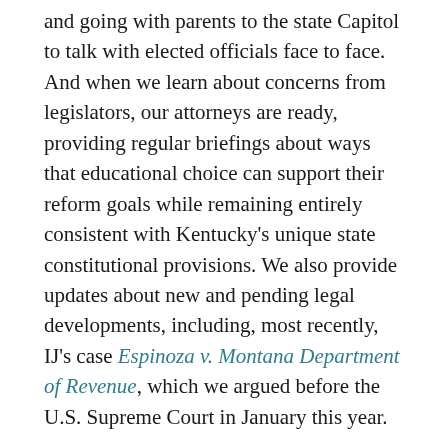and going with parents to the state Capitol to talk with elected officials face to face. And when we learn about concerns from legislators, our attorneys are ready, providing regular briefings about ways that educational choice can support their reform goals while remaining entirely consistent with Kentucky's unique state constitutional provisions. We also provide updates about new and pending legal developments, including, most recently, IJ's case Espinoza v. Montana Department of Revenue, which we argued before the U.S. Supreme Court in January this year.
Working hand in hand with families, this past August, IJ's litigation and activism teams started meeting with legislators from across Kentucky. Some were concerned about legal issues, whereas others were glad to hear from the families who would